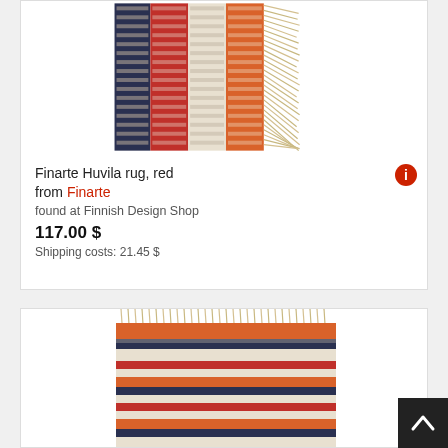[Figure (photo): Top portion of a woven rug with dark navy, red, cream, and orange vertical stripes with fringe at the right edge — Finarte Huvila rug red]
Finarte Huvila rug, red from Finarte
found at Finnish Design Shop
117.00 $
Shipping costs: 21.45 $
[Figure (photo): Woven rug with horizontal stripes in orange, navy, cream, and red with fringe at the top — second product listing]